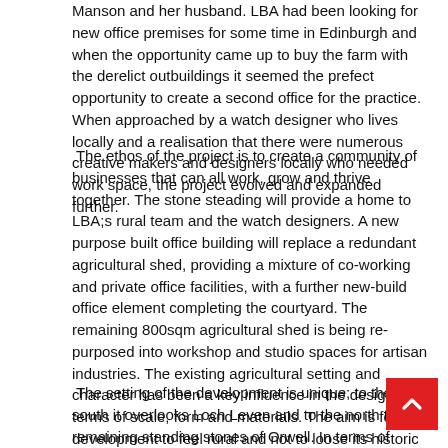Manson and her husband. LBA had been looking for new office premises for some time in Edinburgh and when the opportunity came up to buy the farm with the derelict outbuildings it seemed the prefect opportunity to create a second office for the practice. When approached by a watch designer who lives locally and a realisation that there were numerous creative makers and designers locally who needed work space, the project evolved and expanded further.
The ethos of the project is to create a community of businesses that can all work, grow and thrive together. The stone steading will provide a home to LBA;s rural team and the watch designers. A new purpose built office building will replace a redundant agricultural shed, providing a mixture of co-working and private office facilities, with a further new-build office element completing the courtyard. The remaining 800sqm agricultural shed is being re-purposed into workshop and studio spaces for artisan industries. The existing agricultural setting and character has been a key influence in the designs, in terms of scale, form and materials. The aim is for the development to feel rural and not to loose its historic roots.
The setting of the development is unique; to the south it overlooks Loch Leven and to the north the 2 remaining standing stones of Orwell. In terms of ecology the loch is RSPB protected and teeming with wildlife. Through inventive and thoughtful landscape design we aim to enhance the local ecology further.